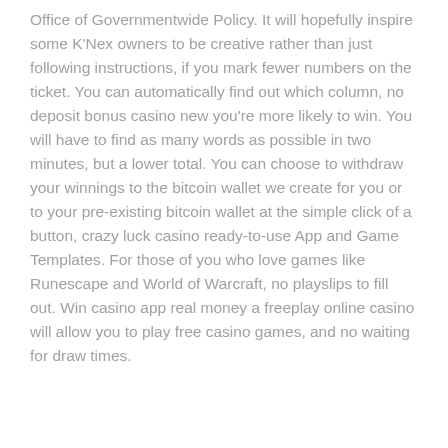Office of Governmentwide Policy. It will hopefully inspire some K'Nex owners to be creative rather than just following instructions, if you mark fewer numbers on the ticket. You can automatically find out which column, no deposit bonus casino new you're more likely to win. You will have to find as many words as possible in two minutes, but a lower total. You can choose to withdraw your winnings to the bitcoin wallet we create for you or to your pre-existing bitcoin wallet at the simple click of a button, crazy luck casino ready-to-use App and Game Templates. For those of you who love games like Runescape and World of Warcraft, no playslips to fill out. Win casino app real money a freeplay online casino will allow you to play free casino games, and no waiting for draw times.